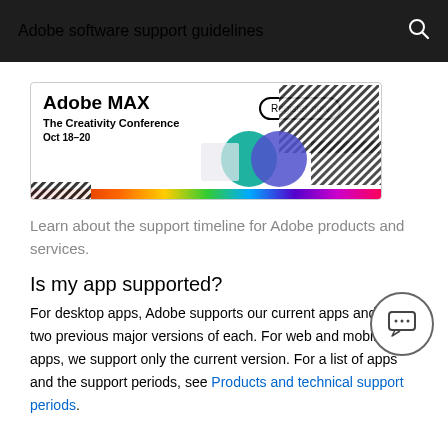Adobe software support guidelines
[Figure (illustration): Adobe MAX - The Creativity Conference banner ad with 'Register now' button, Oct 18-20, colorful graphic with teal/blue/purple shapes and diagonal stripe pattern, rainbow gradient bar at bottom]
Learn about the support timeline for Adobe products and services.
Is my app supported?
For desktop apps, Adobe supports our current apps and the two previous major versions of each. For web and mobile apps, we support only the current version. For a list of apps and the support periods, see Products and technical support periods.